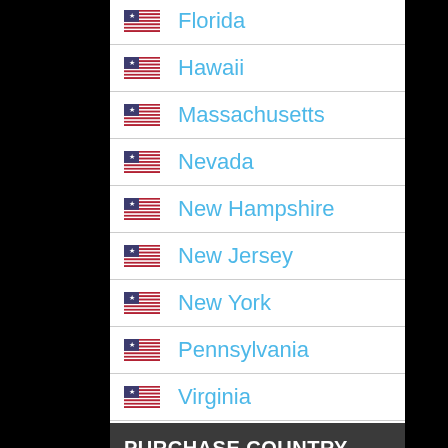Florida
Hawaii
Massachusetts
Nevada
New Hampshire
New Jersey
New York
Pennsylvania
Virginia
PURCHASE COUNTRY